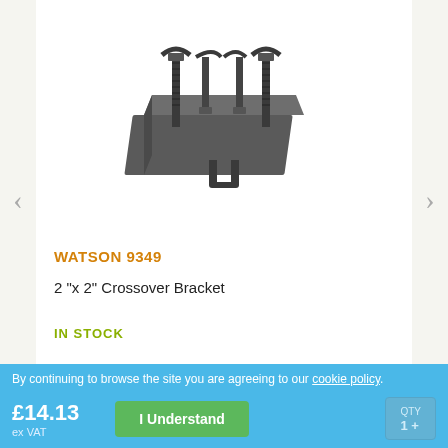[Figure (photo): Product photo of a WATSON 9349 2-inch x 2-inch crossover bracket, a dark grey metal mounting bracket with U-bolt and threaded rods with nuts, viewed from a slight angle above.]
WATSON 9349
2 "x 2" Crossover Bracket
IN STOCK
By continuing to browse the site you are agreeing to our cookie policy.
£14.13
ex VAT
I Understand